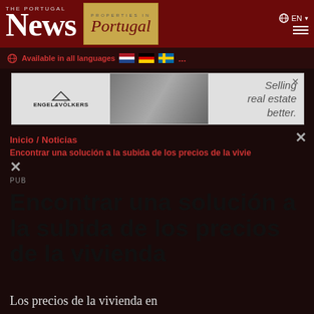The Portugal News
Available in all languages ...
[Figure (other): Engel & Völkers real estate advertisement banner: Selling real estate better.]
Inicio / Noticias
Encontrar una solución a la subida de los precios de la vivie
Encontrar una solución a la subida de los precios de la vivienda
Los precios de la vivienda en